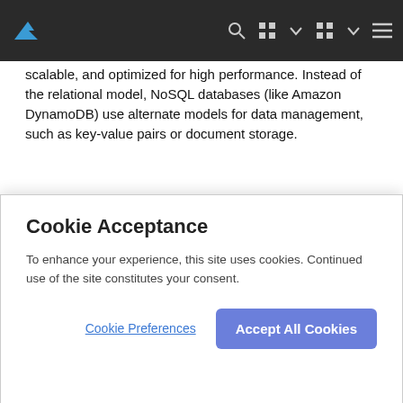scalable, and optimized for high performance. Instead of the relational model, NoSQL databases (like Amazon DynamoDB) use alternate models for data management, such as key‑value pairs or document storage.
nslookup
A network administration command-line tool available for many computer operating systems for querying the Domain Name System (DNS) to obtain domain name or IP address mapping or
Cookie Acceptance
To enhance your experience, this site uses cookies. Continued use of the site constitutes your consent.
Cookie Preferences
Accept All Cookies